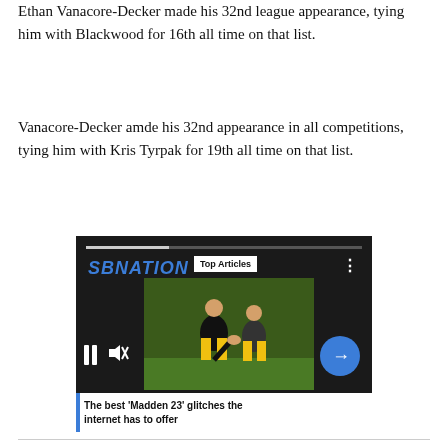Ethan Vanacore-Decker made his 32nd league appearance, tying him with Blackwood for 16th all time on that list.
Vanacore-Decker amde his 32nd appearance in all competitions, tying him with Kris Tyrpak for 19th all time on that list.
[Figure (screenshot): SBNation video player showing a football practice scene with pause and mute controls, a blue next-article arrow button, and a caption 'The best ‘Madden 23’ glitches the internet has to offer'. A 'Top Articles' badge and three-dot menu are visible at top.]